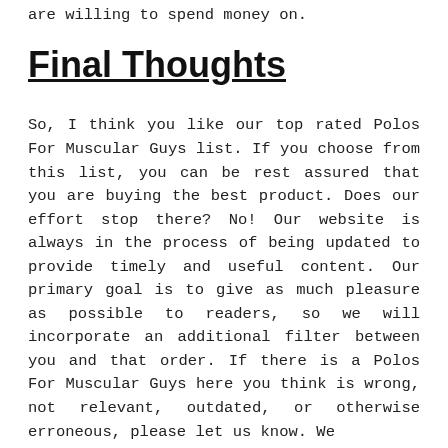are willing to spend money on.
Final Thoughts
So, I think you like our top rated Polos For Muscular Guys list. If you choose from this list, you can be rest assured that you are buying the best product. Does our effort stop there? No! Our website is always in the process of being updated to provide timely and useful content. Our primary goal is to give as much pleasure as possible to readers, so we will incorporate an additional filter between you and that order. If there is a Polos For Muscular Guys here you think is wrong, not relevant, outdated, or otherwise erroneous, please let us know. We